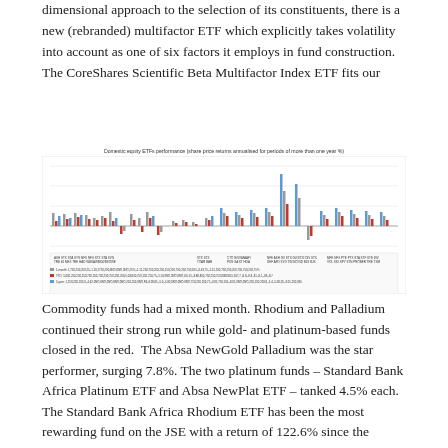dimensional approach to the selection of its constituents, there is a new (rebranded) multifactor ETF which explicitly takes volatility into account as one of six factors it employs in fund construction. The CoreShares Scientific Beta Multifactor Index ETF fits our
[Figure (bar-chart): Bar chart showing domestic equity ETF performance with multiple ETF tickers on x-axis and percentage returns on y-axis. Multiple series shown in different colors (grey, red, blue). Bars show both positive and negative returns.]
Commodity funds had a mixed month. Rhodium and Palladium continued their strong run while gold- and platinum-based funds closed in the red.  The Absa NewGold Palladium was the star performer, surging 7.8%. The two platinum funds – Standard Bank Africa Platinum ETF and Absa NewPlat ETF – tanked 4.5% each. The Standard Bank Africa Rhodium ETF has been the most rewarding fund on the JSE with a return of 122.6% since the beginning of the year.